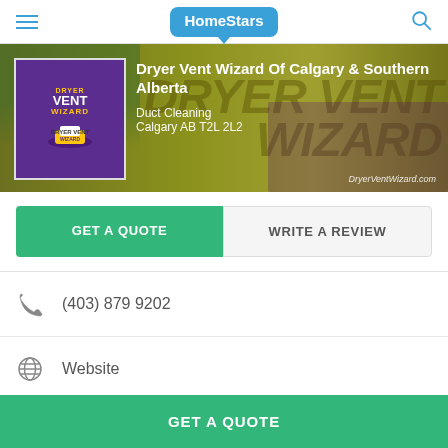HomeStars
[Figure (screenshot): Hero banner with Dryer Vent Wizard branded van background, company logo, business name, category and address]
Dryer Vent Wizard Of Calgary & Southern Alberta
Duct Cleaning
Calgary AB T2L 2L2
DryerVentWizard.com
GET A QUOTE
WRITE A REVIEW
(403) 879 9202
Website
HomeStars > Duct Cleaning > Dryer Vent Wizard Of Calgary & Southern Alberta
GET A QUOTE